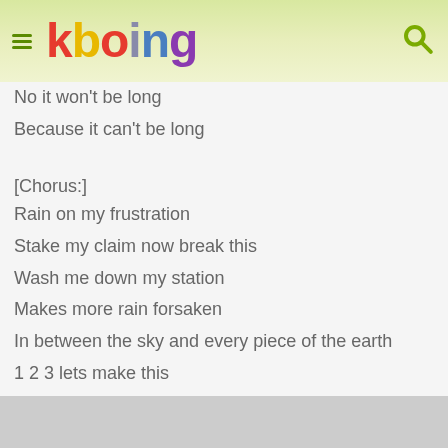kboing
No it won't be long
Because it can't be long
[Chorus:]
Rain on my frustration
Stake my claim now break this
Wash me down my station
Makes more rain forsaken
In between the sky and every piece of the earth
1 2 3 lets make this
Coming through the world I got a feeling of words